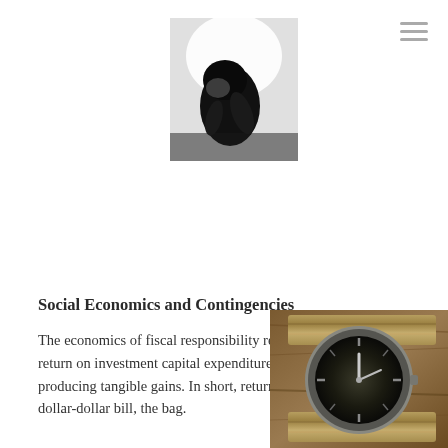[Figure (photo): Black and white photograph of a sculpture (resembling Rodin's The Thinker) shown from above, figure hunched over in thought]
Social Economics and Contingencies
The economics of fiscal responsibility requires focusing on return on investment capital expenditures and social resources producing tangible gains. In short, return on the mighty dollar, dollar-dollar bill, the bag.
[Figure (photo): Close-up photograph of a vintage military-style watch with dark dial on a khaki/tan NATO strap, lying on a wooden surface]